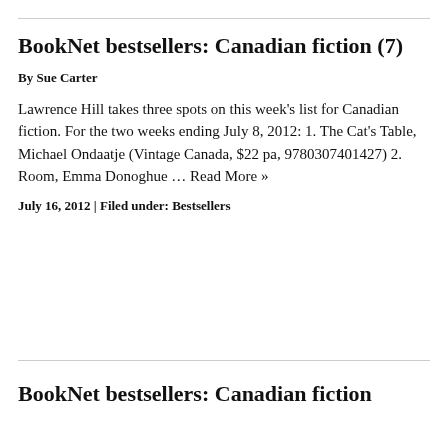BookNet bestsellers: Canadian fiction (7)
By Sue Carter
Lawrence Hill takes three spots on this week's list for Canadian fiction. For the two weeks ending July 8, 2012: 1. The Cat's Table, Michael Ondaatje (Vintage Canada, $22 pa, 9780307401427) 2. Room, Emma Donoghue … Read More »
July 16, 2012 | Filed under: Bestsellers
BookNet bestsellers: Canadian fiction